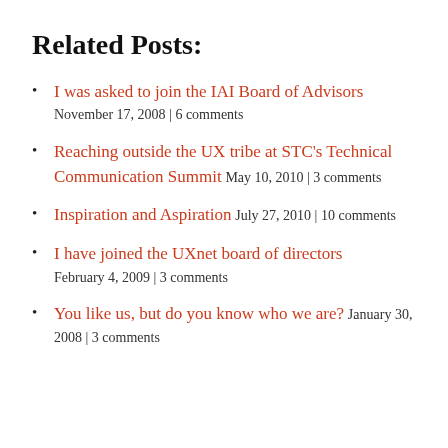Related Posts:
I was asked to join the IAI Board of Advisors November 17, 2008 | 6 comments
Reaching outside the UX tribe at STC's Technical Communication Summit May 10, 2010 | 3 comments
Inspiration and Aspiration July 27, 2010 | 10 comments
I have joined the UXnet board of directors February 4, 2009 | 3 comments
You like us, but do you know who we are? January 30, 2008 | 3 comments